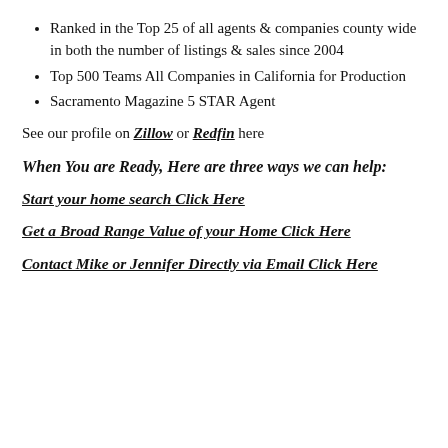Ranked in the Top 25 of all agents & companies county wide in both the number of listings & sales since 2004
Top 500 Teams All Companies in California for Production
Sacramento Magazine 5 STAR Agent
See our profile on Zillow or Redfin here
When You are Ready, Here are three ways we can help:
Start your home search Click Here
Get a Broad Range Value of your Home Click Here
Contact Mike or Jennifer Directly via Email Click Here